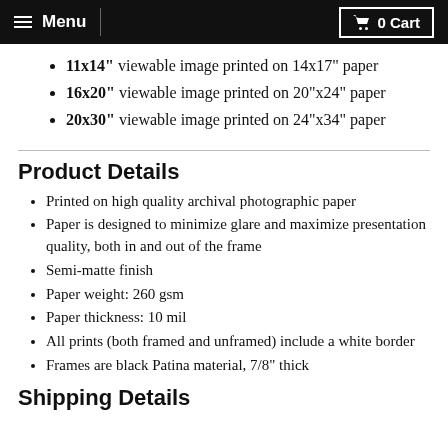Menu | 0 Cart
11x14" viewable image printed on 14x17" paper
16x20" viewable image printed on 20"x24" paper
20x30" viewable image printed on 24"x34" paper
Product Details
Printed on high quality archival photographic paper
Paper is designed to minimize glare and maximize presentation quality, both in and out of the frame
Semi-matte finish
Paper weight: 260 gsm
Paper thickness: 10 mil
All prints (both framed and unframed) include a white border
Frames are black Patina material, 7/8" thick
Shipping Details